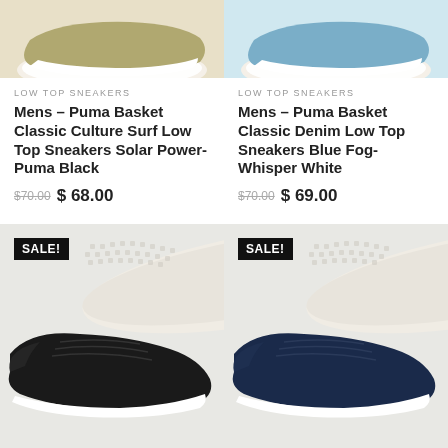[Figure (photo): Olive/tan Puma sneaker top view, cropped at top]
[Figure (photo): Blue Puma sneaker top view, cropped at top]
LOW TOP SNEAKERS
Mens – Puma Basket Classic Culture Surf Low Top Sneakers Solar Power-Puma Black
$70.00  $ 68.00
LOW TOP SNEAKERS
Mens – Puma Basket Classic Denim Low Top Sneakers Blue Fog-Whisper White
$70.00  $ 69.00
[Figure (photo): Black Puma suede sneakers with sole visible, SALE badge]
[Figure (photo): Dark navy Puma suede sneakers with sole visible, SALE badge]